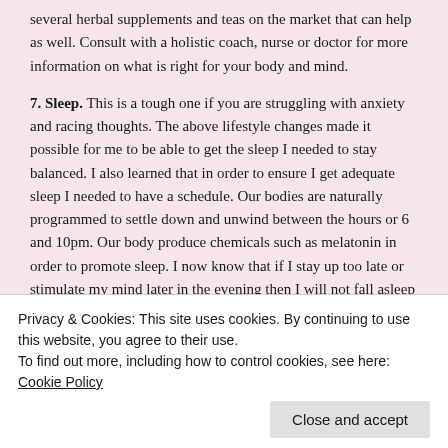several herbal supplements and teas on the market that can help as well. Consult with a holistic coach, nurse or doctor for more information on what is right for your body and mind.
7. Sleep. This is a tough one if you are struggling with anxiety and racing thoughts. The above lifestyle changes made it possible for me to be able to get the sleep I needed to stay balanced. I also learned that in order to ensure I get adequate sleep I needed to have a schedule. Our bodies are naturally programmed to settle down and unwind between the hours or 6 and 10pm. Our body produce chemicals such as melatonin in order to promote sleep. I now know that if I stay up too late or stimulate my mind later in the evening then I will not fall asleep at a decent time.
8. Pray. Yes Pray. I went through some very difficult moments in my
Privacy & Cookies: This site uses cookies. By continuing to use this website, you agree to their use.
To find out more, including how to control cookies, see here: Cookie Policy